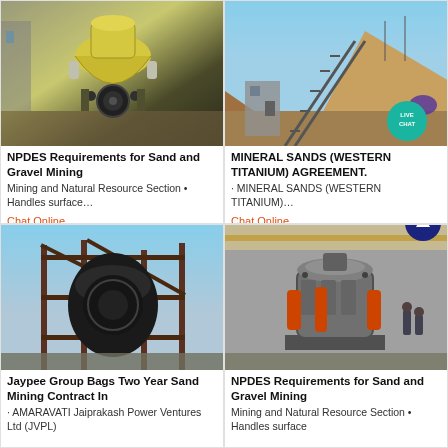[Figure (photo): Yellow cone crusher machine at industrial site]
NPDES Requirements for Sand and Gravel Mining
Mining and Natural Resource Section • Handles surface…
Chat Online
[Figure (photo): Open-pit mining or quarry site with conveyors and hill backdrop; Live Chat badge overlay]
MINERAL SANDS (WESTERN TITANIUM) AGREEMENT.
· MINERAL SANDS (WESTERN TITANIUM)…
Chat Online
[Figure (photo): Large crusher machine being assembled at outdoor site with metal framework]
Jaypee Group Bags Two Year Sand Mining Contract In
· AMARAVATI Jaiprakash Power Ventures Ltd (JVPL)
[Figure (photo): Grey vertical shaft impact crusher with orange cylinders in factory setting with workers]
NPDES Requirements for Sand and Gravel Mining
Mining and Natural Resource Section • Handles surface